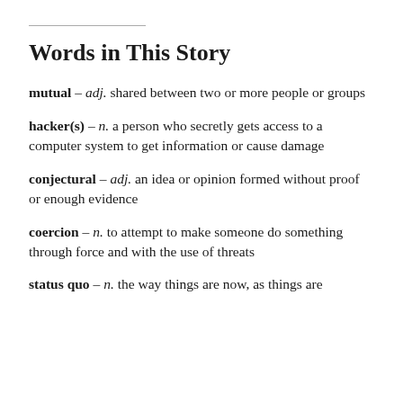Words in This Story
mutual – adj. shared between two or more people or groups
hacker(s) – n. a person who secretly gets access to a computer system to get information or cause damage
conjectural – adj. an idea or opinion formed without proof or enough evidence
coercion – n. to attempt to make someone do something through force and with the use of threats
status quo – n. the way things are now, as things are